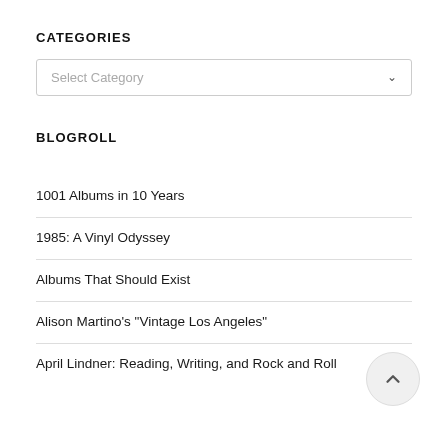CATEGORIES
Select Category
BLOGROLL
1001 Albums in 10 Years
1985: A Vinyl Odyssey
Albums That Should Exist
Alison Martino's "Vintage Los Angeles"
April Lindner: Reading, Writing, and Rock and Roll